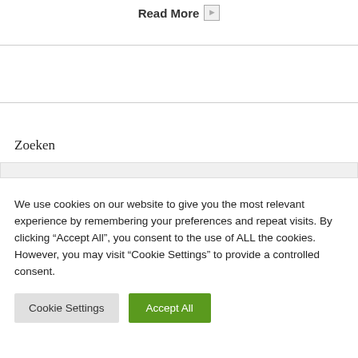Read More ▶
Zoeken
We use cookies on our website to give you the most relevant experience by remembering your preferences and repeat visits. By clicking "Accept All", you consent to the use of ALL the cookies. However, you may visit "Cookie Settings" to provide a controlled consent.
Cookie Settings | Accept All